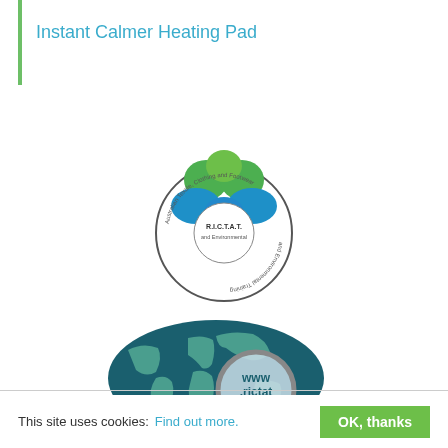Instant Calmer Heating Pad
[Figure (logo): RICTAT organization logo — colorful blob shapes (green and blue) above a circular seal reading 'R.I.C.T.A.T.' with text around the border]
[Figure (logo): Dark teal oval world map graphic with a magnifying glass showing 'www.rictat.org']
This site uses cookies: Find out more. OK, thanks